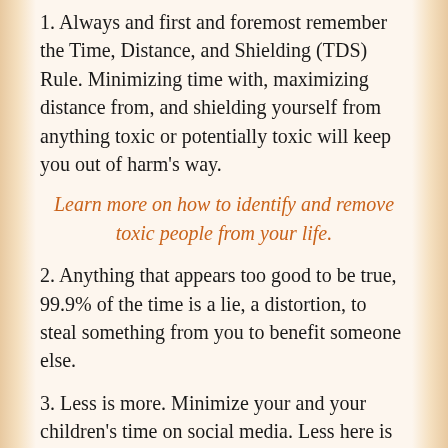1. Always and first and foremost remember the Time, Distance, and Shielding (TDS) Rule. Minimizing time with, maximizing distance from, and shielding yourself from anything toxic or potentially toxic will keep you out of harm's way.
Learn more on how to identify and remove toxic people from your life.
2. Anything that appears too good to be true, 99.9% of the time is a lie, a distortion, to steal something from you to benefit someone else.
3. Less is more. Minimize your and your children's time on social media. Less here is better and safer because it exposes you to less risk. Find a group or site that you know is well